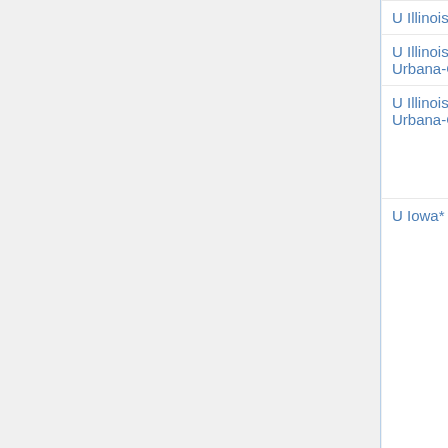| Institution | Area | Date | Names |
| --- | --- | --- | --- |
| U Illinois, Chicago* | all math | Nov 11 | frozen |
| U Illinois, Urbana-Champaign* | logic (t) | Dec 15 |  |
| U Illinois, Urbana-Champaign* | all math, logic | Nov 14 | Mirela Ciperiani, Vera Mikyoung Hur, Tobias Kaiser, Frank Vallentin, Michael Zieve |
| U Iowa* | anal, topol | Nov 7 | Michael Goldberg, Keiko Kawamuro, Emmanouil Milakis, Xiaoyi Zhang |